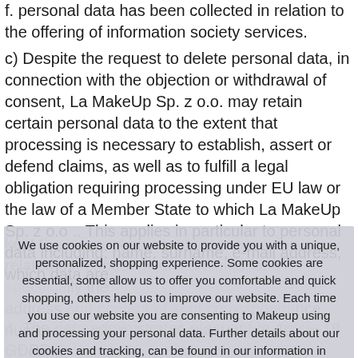f. personal data has been collected in relation to the offering of information society services.
c) Despite the request to delete personal data, in connection with the objection or withdrawal of consent, La MakeUp Sp. z o.o. may retain certain personal data to the extent that processing is necessary to establish, assert or defend claims, as well as to fulfill a legal obligation requiring processing under EU law or the law of a Member State to which La MakeUp Sp. z o.o .. This applies in particular to personal data including: name, surname, e-mail address, which data are
kept t... related d... address... numb... complaints and clai... or the provision of services.
[Figure (screenshot): Cookie consent banner overlay with text: 'We use cookies on our website to provide you with a unique, personalized, shopping experience. Some cookies are essential, some allow us to offer you comfortable and quick shopping, others help us to improve our website. Each time you use our website you are consenting to Makeup using and processing your personal data. Further details about our cookies and tracking, can be found in our information in Privacy policy & cookies.' with an ACCEPT button below.]
4. The ... GDPR...